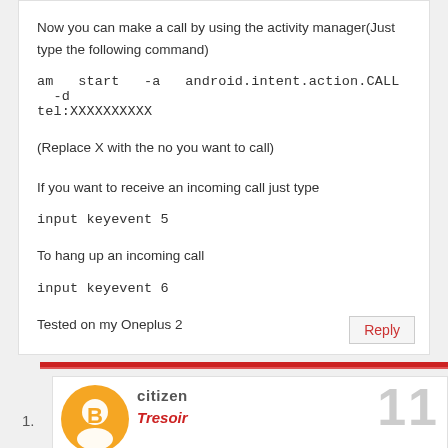Now you can make a call by using the activity manager(Just type the following command)
am start -a android.intent.action.CALL -d tel:XXXXXXXXXX
(Replace X with the no you want to call)
If you want to receive an incoming call just type
input keyevent 5
To hang up an incoming call
input keyevent 6
Tested on my Oneplus 2
Reply
1.
citizen Tresoir